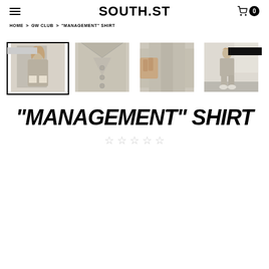SOUTH.ST
HOME > GW CLUB > "MANAGEMENT" SHIRT
[Figure (photo): Four product photos of a beige/tan overshirt jacket. First image shows a woman wearing the shirt open, second shows a close-up of the collar and buttons, third shows a person holding the shirt by the hand/wrist area, fourth shows a full-body shot of a woman wearing the shirt with matching trousers.]
"MANAGEMENT" SHIRT
★★★★★ (empty star rating)